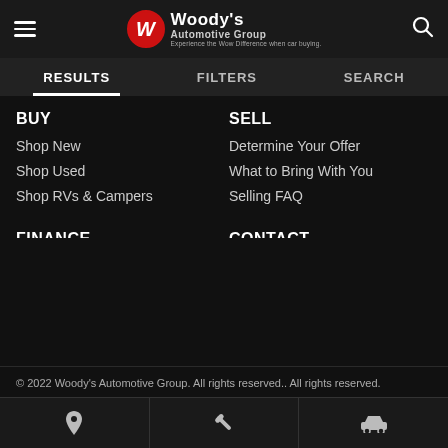Woody's Automotive Group — Experience the Wow Difference when car buying.
RESULTS | FILTERS | SEARCH
BUY
Shop New
Shop Used
Shop RVs & Campers
SELL
Determine Your Offer
What to Bring With You
Selling FAQ
FINANCE
Tools & Calculators
Apply for Financing
Trade-In
CONTACT
Why Woody's
Hours & Directions
Testimonials
© 2022 Woody's Automotive Group. All rights reserved.. All rights reserved.